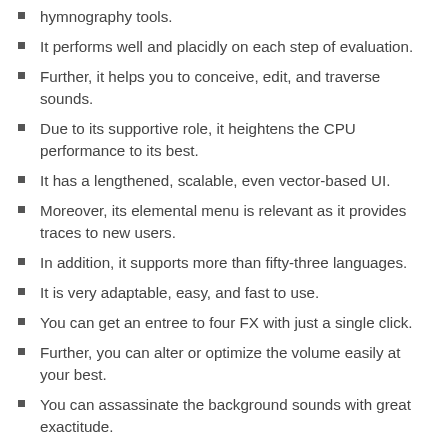hymnography tools.
It performs well and placidly on each step of evaluation.
Further, it helps you to conceive, edit, and traverse sounds.
Due to its supportive role, it heightens the CPU performance to its best.
It has a lengthened, scalable, even vector-based UI.
Moreover, its elemental menu is relevant as it provides traces to new users.
In addition, it supports more than fifty-three languages.
It is very adaptable, easy, and fast to use.
You can get an entree to four FX with just a single click.
Further, you can alter or optimize the volume easily at your best.
You can assassinate the background sounds with great exactitude.
Nexus VST Crack has user-friendly interactive features best of its type.